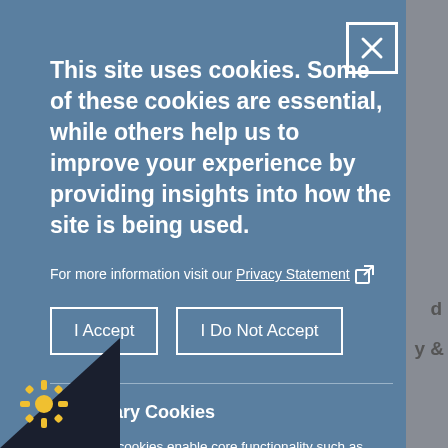This site uses cookies. Some of these cookies are essential, while others help us to improve your experience by providing insights into how the site is being used.
For more information visit our Privacy Statement
I Accept
I Do Not Accept
Necessary Cookies
Necessary cookies enable core functionality such as page navigation and access to secure areas. The website cannot function properly without these cookies, and can only be disabled by changing your browser preferences.